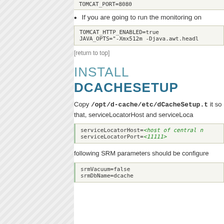[Figure (other): Left decorative stripe with diagonal hatching pattern]
TOMCAT_PORT=8080
If you are going to run the monitoring on
TOMCAT_HTTP_ENABLED=true
JAVA_OPTS="-Xmx512m -Djava.awt.headl
[return to top]
INSTALL DCACHESETUP
Copy /opt/d-cache/etc/dCacheSetup.t it so that, serviceLocatorHost and serviceLoca
serviceLocatorHost=<host of central n>
serviceLocatorPort=<11111>
following SRM parameters should be configure
srmVacuum=false
srmDbName=dcache